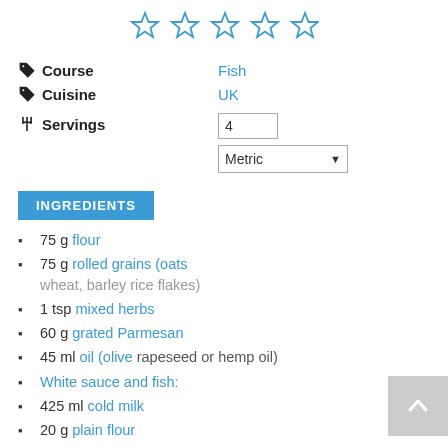[Figure (other): Five empty star rating icons in blue outline]
Course: Fish
Cuisine: UK
Servings: 4, Metric
INGREDIENTS
75 g flour
75 g rolled grains (oats wheat, barley rice flakes)
1 tsp mixed herbs
60 g grated Parmesan
45 ml oil (olive rapeseed or hemp oil)
White sauce and fish:
425 ml cold milk
20 g plain flour
40 g butter